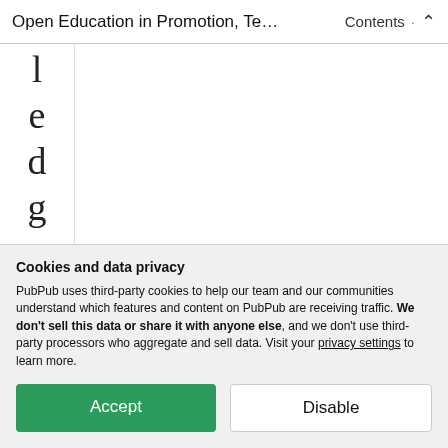Open Education in Promotion, Te… · Contents ↑
l e d g e a b o
Cookies and data privacy
PubPub uses third-party cookies to help our team and our communities understand which features and content on PubPub are receiving traffic. We don't sell this data or share it with anyone else, and we don't use third-party processors who aggregate and sell data. Visit your privacy settings to learn more.
Accept | Disable